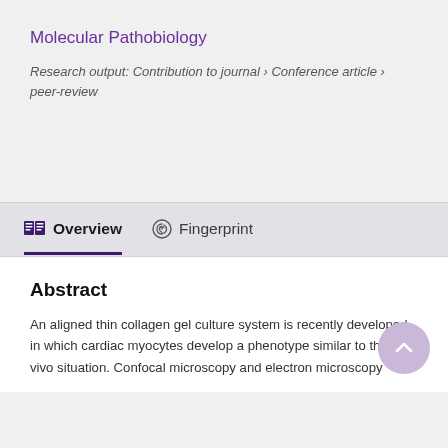Molecular Pathobiology
Research output: Contribution to journal › Conference article › peer-review
Overview   Fingerprint
Abstract
An aligned thin collagen gel culture system is recently developed in which cardiac myocytes develop a phenotype similar to the in vivo situation.Confocal microscopy and electron microscopy